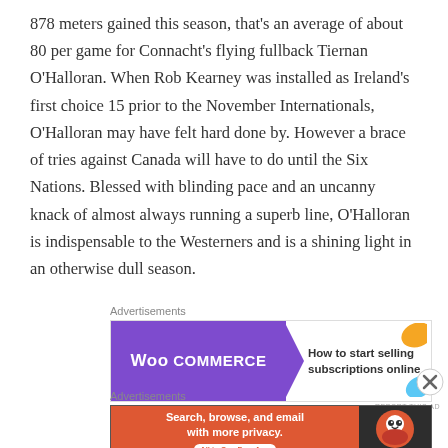878 meters gained this season, that's an average of about 80 per game for Connacht's flying fullback Tiernan O'Halloran. When Rob Kearney was installed as Ireland's first choice 15 prior to the November Internationals, O'Halloran may have felt hard done by. However a brace of tries against Canada will have to do until the Six Nations. Blessed with blinding pace and an uncanny knack of almost always running a superb line, O'Halloran is indispensable to the Westerners and is a shining light in an otherwise dull season.
[Figure (other): WooCommerce advertisement banner: purple background on left with WooCommerce logo and arrow, white right side with text 'How to start selling subscriptions online', orange and blue decorative shapes]
[Figure (other): DuckDuckGo advertisement banner: orange/red left side with text 'Search, browse, and email with more privacy. All in One Free App', dark right side with DuckDuckGo duck logo]